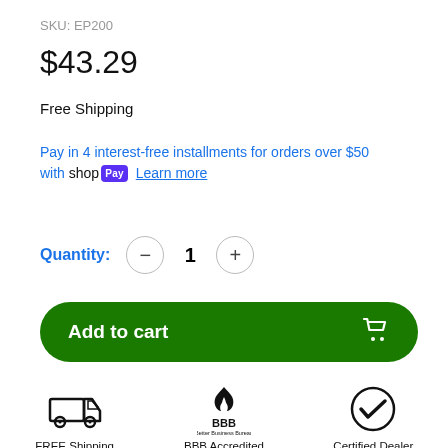SKU: EP200
$43.29
Free Shipping
Pay in 4 interest-free installments for orders over $50 with shop Pay Learn more
Quantity: 1
[Figure (other): Green Add to cart button with shopping cart icon]
[Figure (infographic): Three trust badges: FREE Shipping (truck icon), BBB Accredited (BBB logo), Certified Dealer (checkmark icon)]